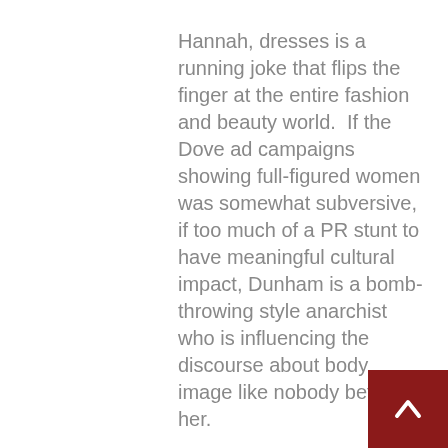Hannah, dresses is a running joke that flips the finger at the entire fashion and beauty world.  If the Dove ad campaigns showing full-figured women was somewhat subversive, if too much of a PR stunt to have meaningful cultural impact, Dunham is a bomb-throwing style anarchist who is influencing the discourse about body image like nobody before her.

Comedy has always been about caricature, the more grotesque the funnier, and for all of its pretensions to be a slice-of-life peek at the lives of four women “almost getting it